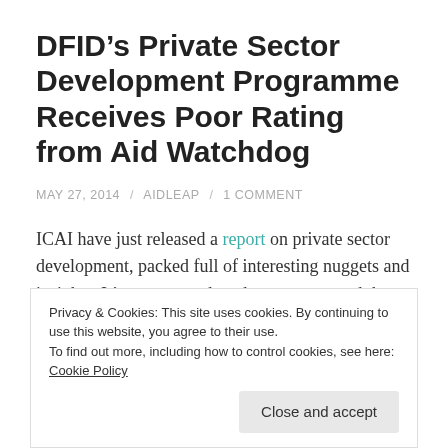DFID’s Private Sector Development Programme Receives Poor Rating from Aid Watchdog
MAY 27, 2014 / AIDLEAP / 1 COMMENT
ICAI have just released a report on private sector development, packed full of interesting nuggets and insights. It’s a great read, and we recommend that you go and read the report straight away. Just in case you
Privacy & Cookies: This site uses cookies. By continuing to use this website, you agree to their use.
To find out more, including how to control cookies, see here: Cookie Policy